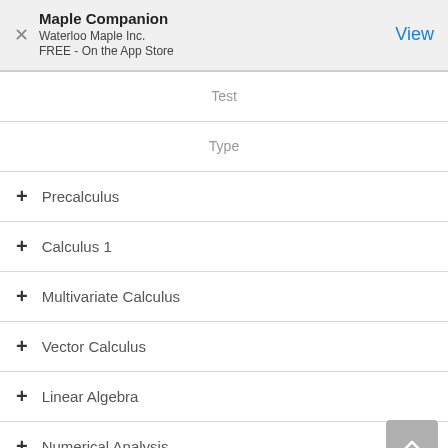Maple Companion
Waterloo Maple Inc.
FREE - On the App Store
Test
Type
Precalculus
Calculus 1
Multivariate Calculus
Vector Calculus
Linear Algebra
Numerical Analysis
Statistics